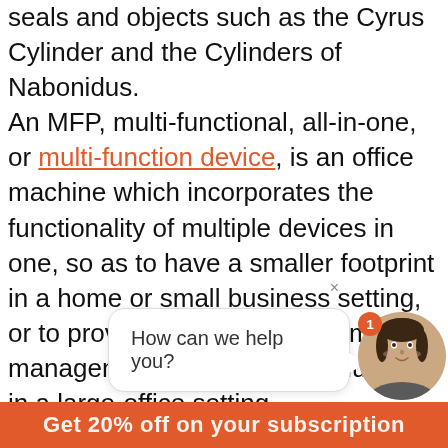seals and objects such as the Cyrus Cylinder and the Cylinders of Nabonidus. An MFP, multi-functional, all-in-one, or multi-function device, is an office machine which incorporates the functionality of multiple devices in one, so as to have a smaller footprint in a home or small business setting, or to provide centralized document management/distribution/production in a large-office setting. Toner is a powder mixture used in laser printers and photocopiers to form the printed text and images on the paper, in general through a toner cart...
[Figure (screenshot): Chat widget with avatar of a woman and speech bubble saying 'How can we help you?']
Get 20% off on your subscription